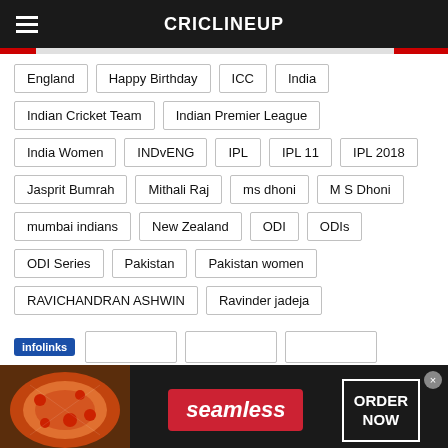CRICLINEUP
England
Happy Birthday
ICC
India
Indian Cricket Team
Indian Premier League
India Women
INDvENG
IPL
IPL 11
IPL 2018
Jasprit Bumrah
Mithali Raj
ms dhoni
M S Dhoni
mumbai indians
New Zealand
ODI
ODIs
ODI Series
Pakistan
Pakistan women
RAVICHANDRAN ASHWIN
Ravinder jadeja
[Figure (screenshot): Advertisement banner for Seamless food ordering service with pizza image, red Seamless logo button, and ORDER NOW box]